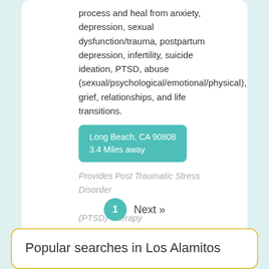process and heal from anxiety, depression, sexual dysfunction/trauma, postpartum depression, infertility, suicide ideation, PTSD, abuse (sexual/psychological/emotional/physical), grief, relationships, and life transitions.
Long Beach, CA 90808
3.4 Miles away
Provides Post Traumatic Stress Disorder (PTSD) Therapy
1  Next »
Popular searches in Los Alamitos